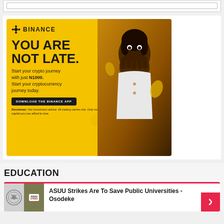[Figure (screenshot): Search bar input box at top of page]
[Figure (illustration): Binance advertisement banner on yellow background. Shows Binance logo, text 'YOU ARE NOT LATE. Start your crypto journey with just N1000. Start your cryptocurrency journey today.' with a Download the Binance App button and a disclaimer. Features a woman covering her mouth with hands and coin decorations. Has a red 'D' badge in top right corner.]
EDUCATION
[Figure (photo): Thumbnail images for ASUU article — left shows a circular seal/emblem, right shows a protest sign reading ASUU STRIKE]
ASUU Strikes Are To Save Public Universities - Osodeke